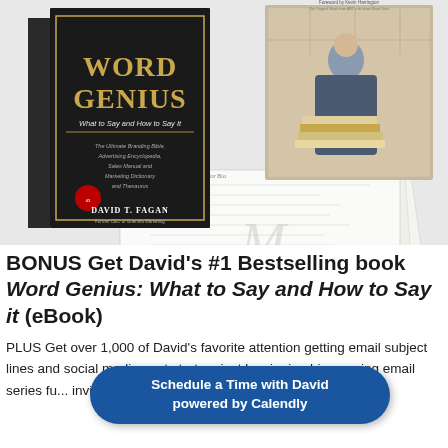[Figure (photo): Composite image showing the book 'Word Genius: What to Say and How to Say It' by David T. Fagan alongside a photo of the author and printed worksheets/documents fanned out below.]
BONUS Get David's #1 Bestselling book Word Genius: What to Say and How to Say it (eBook)
PLUS Get over 1,000 of David's favorite attention getting email subject lines and social media post starters just by signing his ongoing email series fu... invitations.
Schedule a Time with David
powered by Calendly